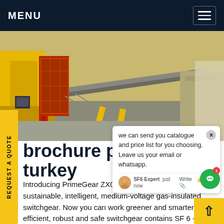MENU
[Figure (photo): Industrial yellow and red electrical switchgear equipment on an outdoor platform, showing a large metal ramp and equipment housing.]
brochure pure sf6 turkey
Introducing PrimeGear ZX0. Designed for you: a sustainable, intelligent, medium-voltage gas-insulated switchgear. Now you can work greener and smarter. Our efficient, robust and safe switchgear contains SF 6 -free gas with a global warming potential of less than one. And it incorporates